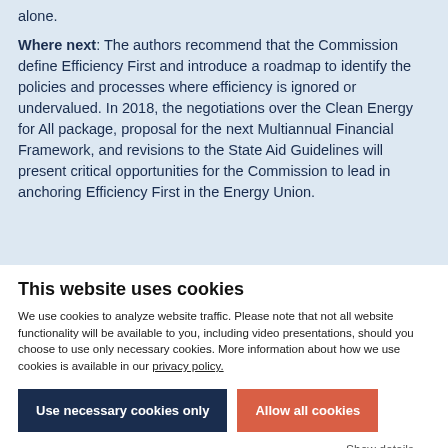alone.

Where next: The authors recommend that the Commission define Efficiency First and introduce a roadmap to identify the policies and processes where efficiency is ignored or undervalued. In 2018, the negotiations over the Clean Energy for All package, proposal for the next Multiannual Financial Framework, and revisions to the State Aid Guidelines will present critical opportunities for the Commission to lead in anchoring Efficiency First in the Energy Union.
This website uses cookies
We use cookies to analyze website traffic. Please note that not all website functionality will be available to you, including video presentations, should you choose to use only necessary cookies. More information about how we use cookies is available in our privacy policy.
Use necessary cookies only
Allow all cookies
Show details